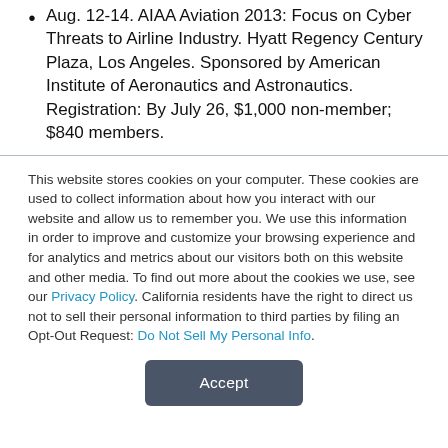Aug. 12-14. AIAA Aviation 2013: Focus on Cyber Threats to Airline Industry. Hyatt Regency Century Plaza, Los Angeles. Sponsored by American Institute of Aeronautics and Astronautics. Registration: By July 26, $1,000 non-member; $840 members.
This website stores cookies on your computer. These cookies are used to collect information about how you interact with our website and allow us to remember you. We use this information in order to improve and customize your browsing experience and for analytics and metrics about our visitors both on this website and other media. To find out more about the cookies we use, see our Privacy Policy. California residents have the right to direct us not to sell their personal information to third parties by filing an Opt-Out Request: Do Not Sell My Personal Info.